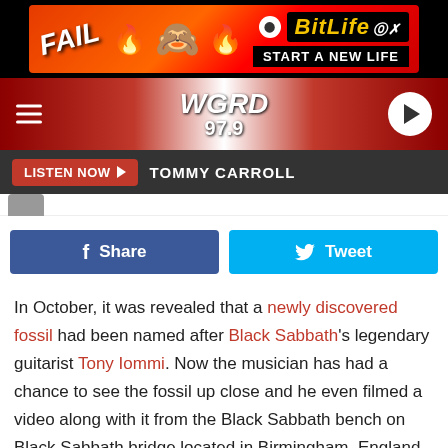[Figure (screenshot): BitLife advertisement banner with FAIL text, cartoon character, flames, and START A NEW LIFE text on red background]
[Figure (logo): WGRD 97.9 radio station header with hamburger menu, logo, and play button]
LISTEN NOW  TOMMY CARROLL
[Figure (infographic): Facebook Share and Twitter Tweet buttons]
In October, it was revealed that a newly discovered fossil had been named after Black Sabbath's legendary guitarist Tony Iommi. Now the musician has had a chance to see the fossil up close and he even filmed a video along with it from the Black Sabbath bench on Black Sabbath bridge located in Birmingham, England.
The Drepanoistodus Iommii was discovered by a group that included metal loving paleontologist Mats Eriksson, who had